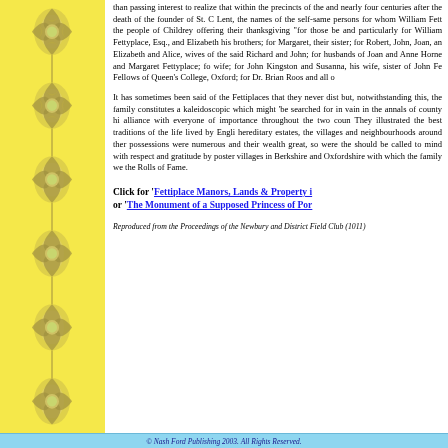[Figure (illustration): Decorative floral/scrollwork border pattern on yellow background running vertically along left side of page]
than passing interest to realize that within the precincts of the and nearly four centuries after the death of the founder of St. C Lent, the names of the self-same persons for whom William Fett the people of Childrey offering their thanksgiving "for those be and particularly for William Fettyplace, Esq., and Elizabeth his brothers; for Margaret, their sister; for Robert, John, Joan, an Elizabeth and Alice, wives of the said Richard and John; for husbands of Joan and Anne Horne and Margaret Fettyplace; fo wife; for John Kingston and Susanna, his wife, sister of John Fe Fellows of Queen's College, Oxford; for Dr. Brian Roos and all o
It has sometimes been said of the Fettiplaces that they never dist but, notwithstanding this, the family constitutes a kaleidoscopic which might 'be searched for in vain in the annals of county hi alliance with everyone of importance throughout the two coun They illustrated the best traditions of the life lived by Engli hereditary estates, the villages and neighbourhoods around ther possessions were numerous and their wealth great, so were the should be called to mind with respect and gratitude by poster villages in Berkshire and Oxfordshire with which the family we the Rolls of Fame.
Click for 'Fettiplace Manors, Lands & Property i or 'The Monument of a Supposed Princess of Por
Reproduced from the Proceedings of the Newbury and District Field Club (1911)
© Nash Ford Publishing 2003. All Rights Reserved.